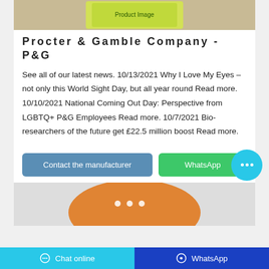[Figure (photo): Top product image showing a yellow/green packaged product on a wooden surface, partially visible at the top of the card]
Procter & Gamble Company - P&G
See all of our latest news. 10/13/2021 Why I Love My Eyes – not only this World Sight Day, but all year round Read more. 10/10/2021 National Coming Out Day: Perspective from LGBTQ+ P&G Employees Read more. 10/7/2021 Bio-researchers of the future get £22.5 million boost Read more.
[Figure (screenshot): Buttons row showing 'Contact the manufacturer' (steel blue) and 'WhatsApp' (green) buttons, with a cyan chat bubble icon on the right]
[Figure (photo): Bottom product image showing an orange plastic bag/packaging with three white dots, partially visible]
Chat online   WhatsApp